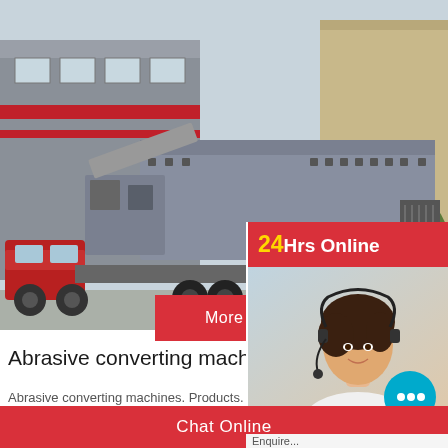[Figure (photo): Large industrial mobile crushing/screening machine on a truck flatbed parked in front of a grey industrial building with red stripe accents.]
More
Online C...
Abrasive converting machines - Off...
Abrasive converting machines. Products. Pre...
Wide belt press A2/02; Narrow belt press H1...
[Figure (photo): 24Hrs Online banner with customer service agent wearing headset, and a teal chat bubble icon. 'Need questions & suggestion? Chat Now' panel below.]
Chat Online